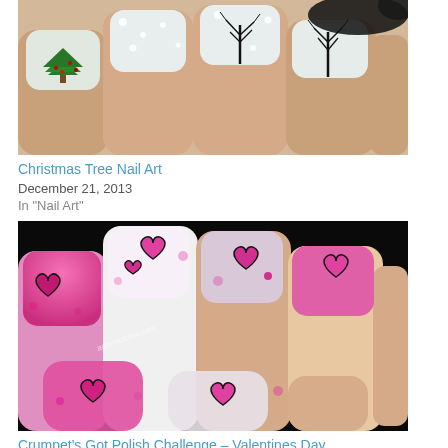[Figure (photo): Close-up photo of nail art showing Christmas tree and winter bare tree designs on nails with white background and snow dots, and black ribbon]
Christmas Tree Nail Art
December 21, 2013
In "Nail Art"
[Figure (photo): Close-up photo of nail art showing pink and white nails with heart designs and polka dots, featuring adornedclaw.com watermark]
Crumpet's Got Polish Challenge – Valentines Day